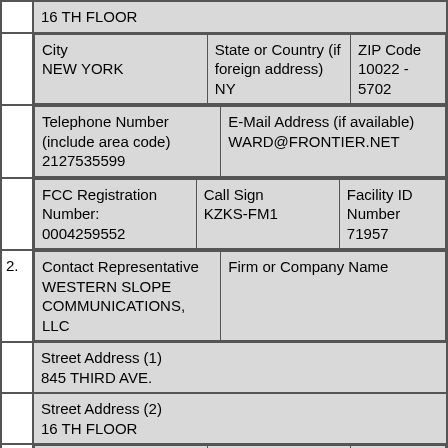| 16 TH FLOOR |
| City
NEW YORK | State or Country (if foreign address)
NY | ZIP Code
10022 -
5702 |
| Telephone Number (include area code)
2127535599 | E-Mail Address (if available)
WARD@FRONTIER.NET |
| FCC Registration Number:
0004259552 | Call Sign
KZKS-FM1 | Facility ID Number
71957 |
| 2. | Contact Representative
WESTERN SLOPE COMMUNICATIONS, LLC | Firm or Company Name |
| Street Address (1)
845 THIRD AVE. |
| Street Address (2)
16 TH FLOOR |
| City
NEW YORK | State or Country (if foreign address)
NY | ZIP Code
10022 -
5702 |
| Telephone Number (include area code) | E-Mail Address (if available)
WARD@FRONTIER.NET |